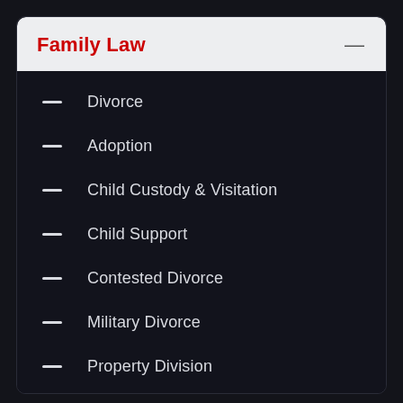Family Law
Divorce
Adoption
Child Custody & Visitation
Child Support
Contested Divorce
Military Divorce
Property Division
Protective Order
Separation